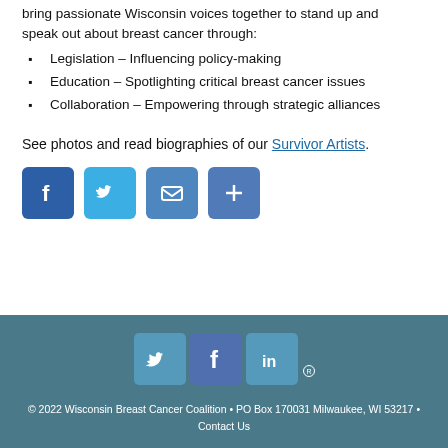bring passionate Wisconsin voices together to stand up and speak out about breast cancer through:
Legislation – Influencing policy-making
Education – Spotlighting critical breast cancer issues
Collaboration – Empowering through strategic alliances
See photos and read biographies of our Survivor Artists.
[Figure (infographic): Four social share buttons: Facebook (blue), Twitter (light blue), Email (medium blue), Share/Plus (blue)]
© 2022 Wisconsin Breast Cancer Coalition • PO Box 170031 Milwaukee, WI 53217 • Contact Us